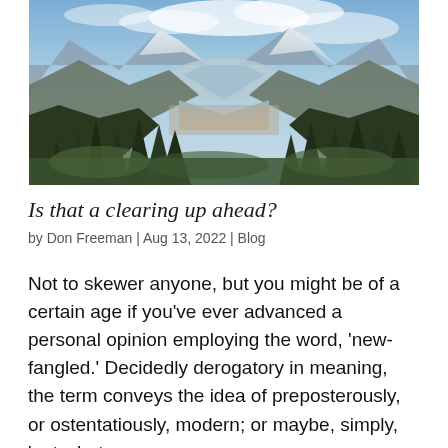[Figure (photo): Mountain landscape photograph showing snow-capped peaks, a wide valley, and dense green evergreen forest in the foreground under a partly cloudy sky.]
Is that a clearing up ahead?
by Don Freeman | Aug 13, 2022 | Blog
Not to skewer anyone, but you might be of a certain age if you've ever advanced a personal opinion employing the word, 'new-fangled.' Decidedly derogatory in meaning, the term conveys the idea of preposterously, or ostentatiously, modern; or maybe, simply, 'not what…